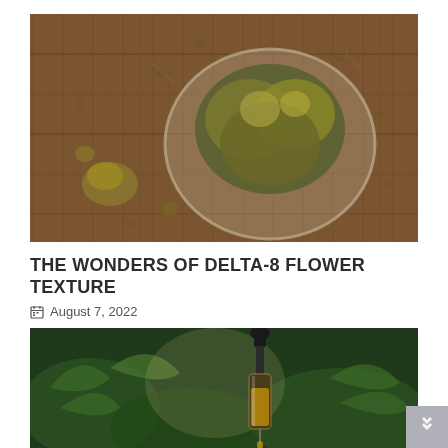[Figure (photo): Overhead view of dried cannabis flower buds in a glass bowl on a wooden surface, with scattered seeds and plant material around it.]
THE WONDERS OF DELTA-8 FLOWER TEXTURE
August 7, 2022
[Figure (photo): Close-up of a dropper bottle with amber liquid held over cannabis plants in a dark green outdoor setting.]